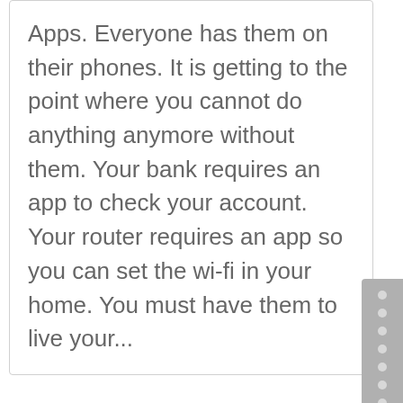Apps. Everyone has them on their phones. It is getting to the point where you cannot do anything anymore without them. Your bank requires an app to check your account. Your router requires an app so you can set the wi-fi in your home. You must have them to live your...